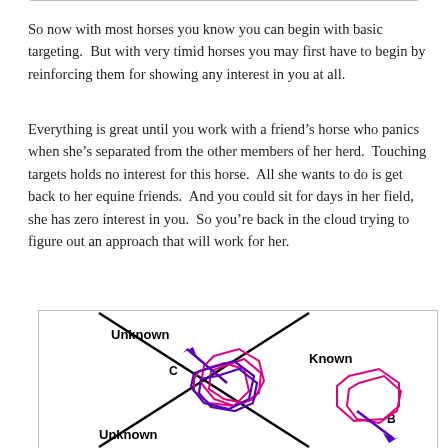So now with most horses you know you can begin with basic targeting.  But with very timid horses you may first have to begin by reinforcing them for showing any interest in you at all.
Everything is great until you work with a friend’s horse who panics when she’s separated from the other members of her herd.  Touching targets holds no interest for this horse.  All she wants to do is get back to her equine friends.  And you could sit for days in her field, she has zero interest in you.  So you’re back in the cloud trying to figure out an approach that will work for her.
[Figure (schematic): Diagram showing a field divided by diagonal lines into regions labeled 'Unknown' (top-left), 'Known' (top-right), 'Unknown' (bottom-left). Points C and B are marked. Overlapping pink and purple irregular polygon shapes represent horse movement paths, with purple arrows indicating direction.]